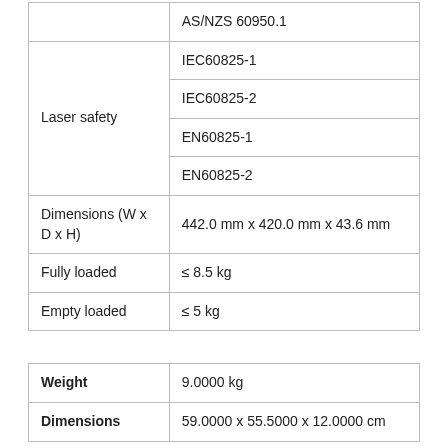|  | AS/NZS 60950.1 |
| Laser safety | IEC60825-1 |
| Laser safety | IEC60825-2 |
| Laser safety | EN60825-1 |
| Laser safety | EN60825-2 |
| Dimensions (W x D x H) | 442.0 mm x 420.0 mm x 43.6 mm |
| Fully loaded | ≤ 8.5 kg |
| Empty loaded | ≤ 5 kg |
| Weight | Dimensions |
| --- | --- |
| Weight | 9.0000 kg |
| Dimensions | 59.0000 x 55.5000 x 12.0000 cm |